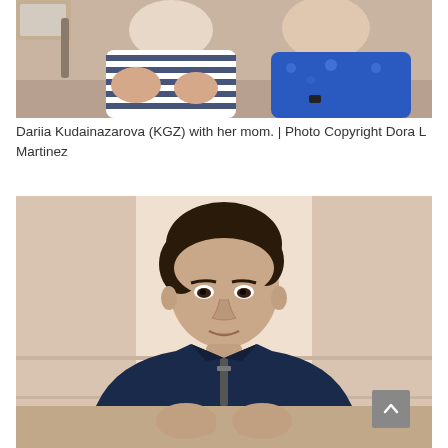[Figure (photo): Two women seated, one wearing a navy and white striped outfit, the other in a blue floral top, at what appears to be a chess event venue.]
Dariia Kudainazarova (KGZ) with her mom. | Photo Copyright Dora L Martinez
[Figure (photo): A young man with dark hair wearing a navy blue zip-up jacket, seated at a table, looking at the camera, at what appears to be a chess tournament.]